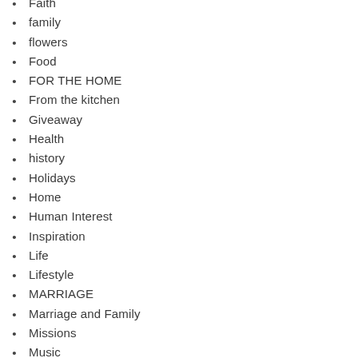Faith
family
flowers
Food
FOR THE HOME
From the kitchen
Giveaway
Health
history
Holidays
Home
Human Interest
Inspiration
Life
Lifestyle
MARRIAGE
Marriage and Family
Missions
Music
Nature
Parenting
Photography
poetry
Politics
Religion
Scripture Challenge
Shopping